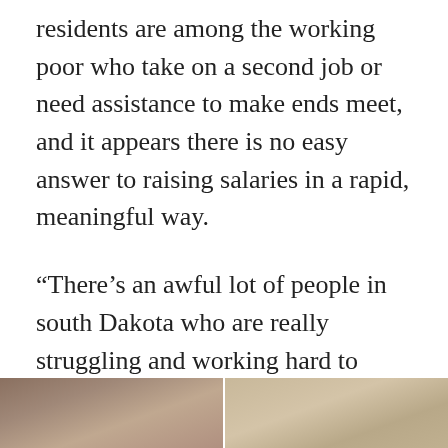residents are among the working poor who take on a second job or need assistance to make ends meet, and it appears there is no easy answer to raising salaries in a rapid, meaningful way.
“There’s an awful lot of people in south Dakota who are really struggling and working hard to make ends meet,” said state Sen. Reynold Nesiba, D-Sioux Falls, who is an economics professor at Augustana University. “It seems like there’s a race going on between prosperity and poverty in South Dakota and I think poverty is winning.”
[Figure (photo): Two cropped photographs side by side at the bottom of the page, partially visible]